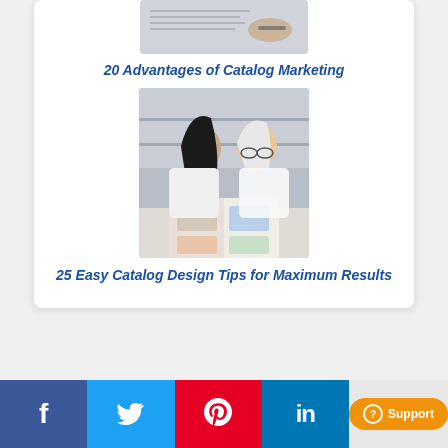[Figure (photo): Top portion of a photo showing a hand writing on a notepad/notebook, partially cropped at top]
20 Advantages of Catalog Marketing
[Figure (photo): Two women looking at a catalog/lookbook together — one with long dark hair, one older with white/grey hair and glasses, both in white tops]
25 Easy Catalog Design Tips for Maximum Results
Facebook | Twitter | Pinterest | LinkedIn | Support